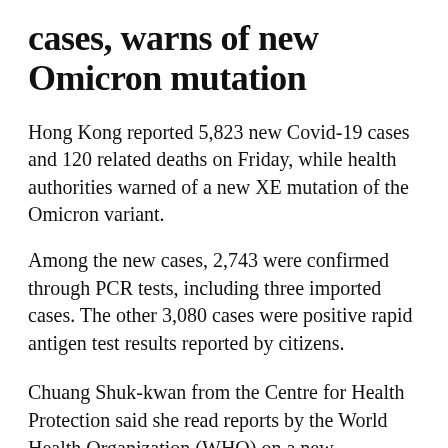cases, warns of new Omicron mutation
Hong Kong reported 5,823 new Covid-19 cases and 120 related deaths on Friday, while health authorities warned of a new XE mutation of the Omicron variant.
Among the new cases, 2,743 were confirmed through PCR tests, including three imported cases. The other 3,080 cases were positive rapid antigen test results reported by citizens.
Chuang Shuk-kwan from the Centre for Health Protection said she read reports by the World Health Organization (WHO) on a new compound virus and noted that the University